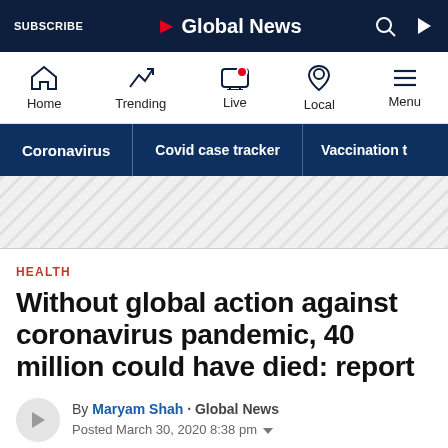SUBSCRIBE | Global News
HEALTH
Without global action against coronavirus pandemic, 40 million could have died: report
By Maryam Shah · Global News
Posted March 30, 2020 8:38 pm